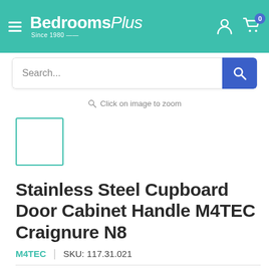BedroomsPlus Since 1980
Search...
Click on image to zoom
[Figure (other): Small thumbnail image placeholder with teal border]
Stainless Steel Cupboard Door Cabinet Handle M4TEC Craignure N8
M4TEC  |  SKU: 117.31.021